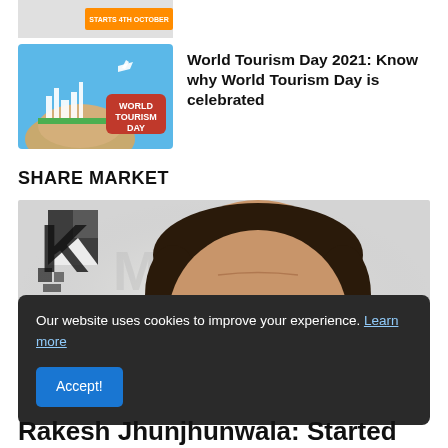[Figure (photo): Partially cropped thumbnail of an article with an orange banner reading 'STARTS 4TH OCTOBER']
[Figure (photo): World Tourism Day thumbnail image showing globe, landmarks, airplane, and red 'WORLD TOURISM DAY' badge on blue background]
World Tourism Day 2021: Know why World Tourism Day is celebrated
SHARE MARKET
[Figure (photo): Photo of Rakesh Jhunjhunwala, a man wearing glasses, with partial face visible; background includes broken letter/logo graphic]
Our website uses cookies to improve your experience. Learn more
Rakesh Jhunjhunwala: Started